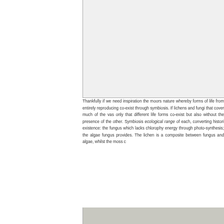[Figure (photo): Photograph area at top right of page, bordered on left and bottom, showing landscape or nature scene (cropped/partially visible)]
Thankfully if we need inspiration the moors nature whereby forms of life from entirely reproducing co-exist through symbiosis. If lichens and fungi that cover much of the vas only that different life forms co-exist but also without the presence of the other. Symbiosis ecological range of each, converting histori existence: the fungus which lacks chlorophy energy through photo-synthesis; the algae fungus provides. The lichen is a composite between fungus and algae, whilst the moss c
[Figure (photo): Photograph strip at bottom right showing landscape or moorland scene, partially cropped]